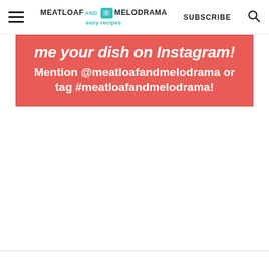MEATLOAF AND MELODRAMA easy recipes | SUBSCRIBE
me your dish on Instagram! Mention @meatloafandmelodrama or tag #meatloafandmelodrama!